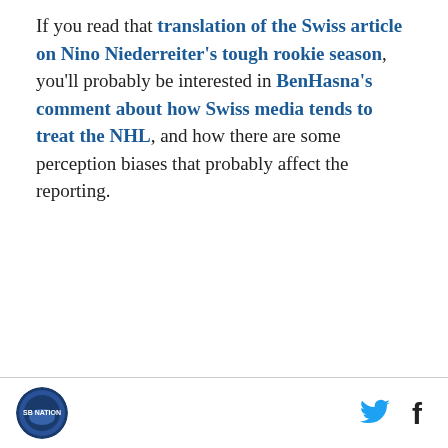If you read that translation of the Swiss article on Nino Niederreiter's tough rookie season, you'll probably be interested in BenHasna's comment about how Swiss media tends to treat the NHL, and how there are some perception biases that probably affect the reporting.
AD
[Figure (logo): Circular sports team logo at bottom left of page]